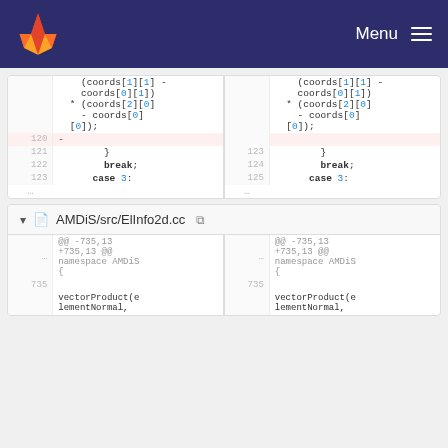GitLab — Menu
[Figure (screenshot): Code diff view showing two side-by-side panels with line numbers 120-123 and 123-125, including deleted line 120, closing brace, break, and case 3 statements with coords array indexing syntax]
AMDiS/src/ElInfo2d.cc
[Figure (screenshot): Code diff view for AMDiS/src/ElInfo2d.cc showing @@ -735,13 +735,13 @@ namespace AMDiS { block with line 735 and vectorProduct(elementNormal, code]